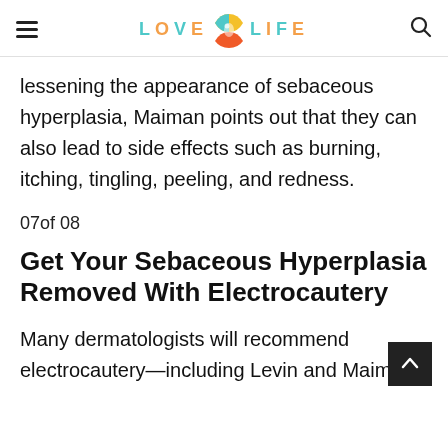LOVE LIFE
lessening the appearance of sebaceous hyperplasia, Maiman points out that they can also lead to side effects such as burning, itching, tingling, peeling, and redness.
07of 08
Get Your Sebaceous Hyperplasia Removed With Electrocautery
Many dermatologists will recommend electrocautery—including Levin and Maiman.